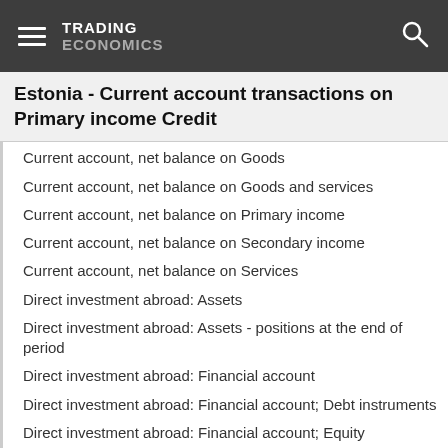TRADING ECONOMICS
Estonia - Current account transactions on Primary income Credit
Current account, net balance on Goods
Current account, net balance on Goods and services
Current account, net balance on Primary income
Current account, net balance on Secondary income
Current account, net balance on Services
Direct investment abroad: Assets
Direct investment abroad: Assets - positions at the end of period
Direct investment abroad: Financial account
Direct investment abroad: Financial account; Debt instruments
Direct investment abroad: Financial account; Equity
Direct investment abroad: Financial account; Reinvestment of earnings
Direct investment in the reporting economy (flows)
Direct investment in the reporting economy (stocks)
Direct investment in the reporting economy: Financial